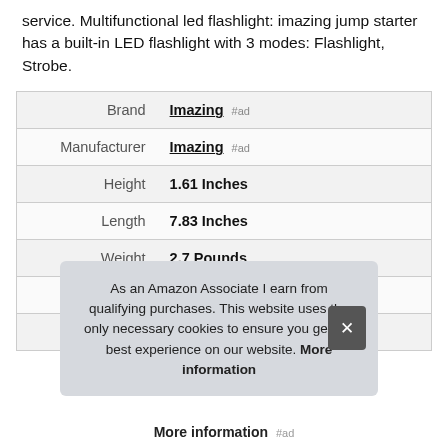service. Multifunctional led flashlight: imazing jump starter has a built-in LED flashlight with 3 modes: Flashlight, Strobe.
|  |  |
| --- | --- |
| Brand | Imazing #ad |
| Manufacturer | Imazing #ad |
| Height | 1.61 Inches |
| Length | 7.83 Inches |
| Weight | 2.7 Pounds |
| Width | 3.62 Inches |
| Part Number | AMD-101116 |
As an Amazon Associate I earn from qualifying purchases. This website uses the only necessary cookies to ensure you get the best experience on our website. More information
More information #ad